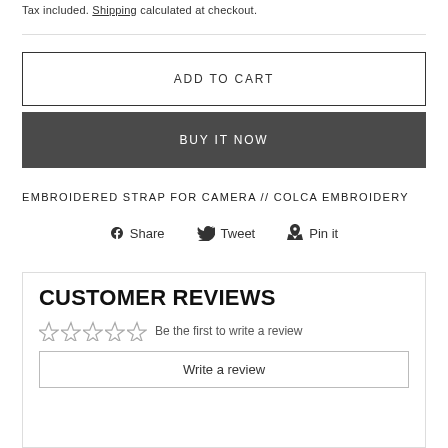Tax included. Shipping calculated at checkout.
ADD TO CART
BUY IT NOW
EMBROIDERED STRAP FOR CAMERA // COLCA EMBROIDERY
Share  Tweet  Pin it
CUSTOMER REVIEWS
Be the first to write a review
Write a review